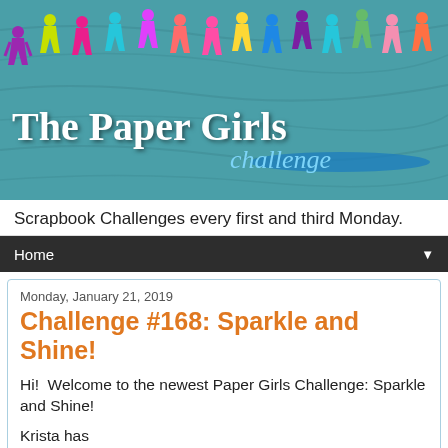[Figure (illustration): The Paper Girls Challenge blog banner with colorful paper doll figures across a teal wood-grain background, with 'The Paper Girls' in large white serif text and 'challenge' in blue italic script.]
Scrapbook Challenges every first and third Monday.
Home
Monday, January 21, 2019
Challenge #168: Sparkle and Shine!
Hi!  Welcome to the newest Paper Girls Challenge: Sparkle and Shine!
Krista has...